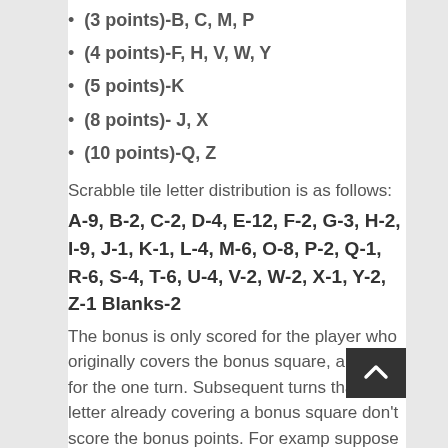(3 points)-B, C, M, P
(4 points)-F, H, V, W, Y
(5 points)-K
(8 points)- J, X
(10 points)-Q, Z
Scrabble tile letter distribution is as follows:
A-9, B-2, C-2, D-4, E-12, F-2, G-3, H-2, I-9, J-1, K-1, L-4, M-6, O-8, P-2, Q-1, R-6, S-4, T-6, U-4, V-2, W-2, X-1, Y-2, Z-1 Blanks-2
The bonus is only scored for the player who originally covers the bonus square, and only for the one turn. Subsequent turns that use a letter already covering a bonus square don't score the bonus points. For example, suppose FAZE is placed with the Z on the Double Word Score square and scores a total of 32 pt. If some later player adds an S to form FAZES, the Double Word Score is NO